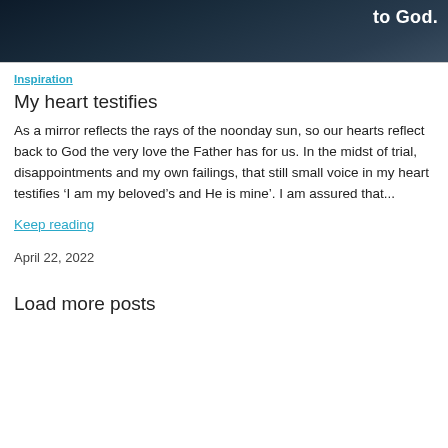[Figure (photo): Dark moody background image with white bold text reading 'to God.' in the upper right corner]
Inspiration
My heart testifies
As a mirror reflects the rays of the noonday sun, so our hearts reflect back to God the very love the Father has for us. In the midst of trial, disappointments and my own failings, that still small voice in my heart testifies ‘I am my beloved’s and He is mine’. I am assured that…
Keep reading
April 22, 2022
Load more posts